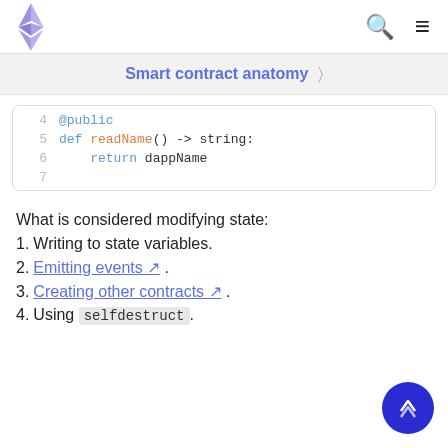Ethereum logo | Search | Menu
Smart contract anatomy >
[Figure (screenshot): Code snippet showing lines 4-7 of a Vyper smart contract: line 4 @public, line 5 def readName() -> string:, line 6 return dappName, line 7 (empty)]
What is considered modifying state:
1. Writing to state variables.
2. Emitting events ↗ .
3. Creating other contracts ↗ .
4. Using selfdestruct.